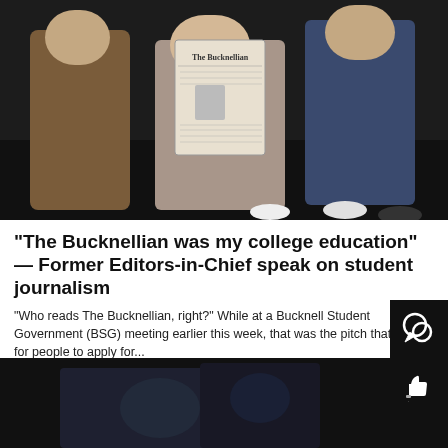[Figure (photo): Group of people posing together; one person in the center holds up a copy of The Bucknellian newspaper. The background is dark.]
“The Bucknellian was my college education” — Former Editors-in-Chief speak on student journalism
“Who reads The Bucknellian, right?” While at a Bucknell Student Government (BSG) meeting earlier this week, that was the pitch that I made for people to apply for...
[Figure (photo): Dark photo showing partial view of a person in dark clothing, bottom of page.]